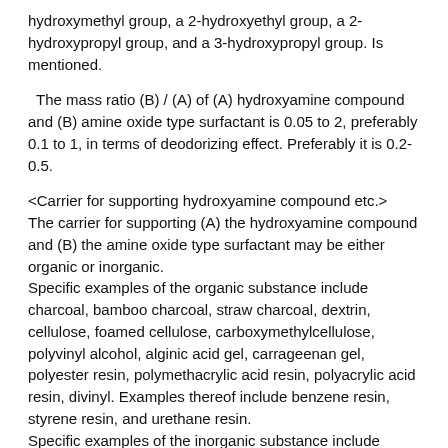hydroxymethyl group, a 2-hydroxyethyl group, a 2-hydroxypropyl group, and a 3-hydroxypropyl group. Is mentioned.
The mass ratio (B) / (A) of (A) hydroxyamine compound and (B) amine oxide type surfactant is 0.05 to 2, preferably 0.1 to 1, in terms of deodorizing effect. Preferably it is 0.2-0.5.
<Carrier for supporting hydroxyamine compound etc.> The carrier for supporting (A) the hydroxyamine compound and (B) the amine oxide type surfactant may be either organic or inorganic. Specific examples of the organic substance include charcoal, bamboo charcoal, straw charcoal, dextrin, cellulose, foamed cellulose, carboxymethylcellulose, polyvinyl alcohol, alginic acid gel, carrageenan gel, polyester resin, polymethacrylic acid resin, polyacrylic acid resin, divinyl. Examples thereof include benzene resin, styrene resin, and urethane resin. Specific examples of the inorganic substance include activated carbon, silica, silica gel, calcium silicate, zeolite, high silica zeolite (hydrophobic zeolite), aluminum oxide